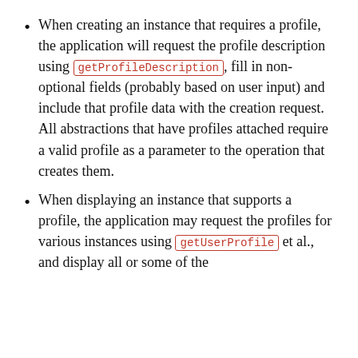When creating an instance that requires a profile, the application will request the profile description using getProfileDescription, fill in non-optional fields (probably based on user input) and include that profile data with the creation request. All abstractions that have profiles attached require a valid profile as a parameter to the operation that creates them.
When displaying an instance that supports a profile, the application may request the profiles for various instances using getUserProfile et al., and display all or some of the